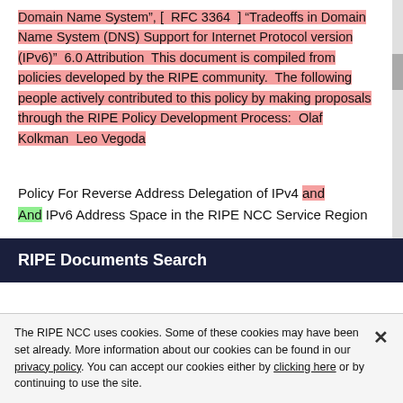Domain Name System”, [ RFC 3364 ] “Tradeoffs in Domain Name System (DNS) Support for Internet Protocol version (IPv6)” 6.0 Attribution This document is compiled from policies developed by the RIPE community. The following people actively contributed to this policy by making proposals through the RIPE Policy Development Process: Olaf Kolkman Leo Vegoda
Policy For Reverse Address Delegation of IPv4 and And IPv6 Address Space in the RIPE NCC Service Region
RIPE Documents Search
The RIPE NCC uses cookies. Some of these cookies may have been set already. More information about our cookies can be found in our privacy policy. You can accept our cookies either by clicking here or by continuing to use the site.